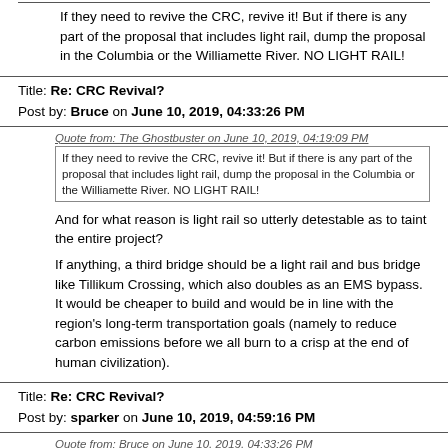If they need to revive the CRC, revive it! But if there is any part of the proposal that includes light rail, dump the proposal in the Columbia or the Williamette River. NO LIGHT RAIL!
Title: Re: CRC Revival?
Post by: Bruce on June 10, 2019, 04:33:26 PM
Quote from: The Ghostbuster on June 10, 2019, 04:19:09 PM
If they need to revive the CRC, revive it! But if there is any part of the proposal that includes light rail, dump the proposal in the Columbia or the Williamette River. NO LIGHT RAIL!
And for what reason is light rail so utterly detestable as to taint the entire project?
If anything, a third bridge should be a light rail and bus bridge like Tillikum Crossing, which also doubles as an EMS bypass. It would be cheaper to build and would be in line with the region's long-term transportation goals (namely to reduce carbon emissions before we all burn to a crisp at the end of human civilization).
Title: Re: CRC Revival?
Post by: sparker on June 10, 2019, 04:59:16 PM
Quote from: Bruce on June 10, 2019, 04:33:26 PM
Quote from: The Ghostbuster on June 10, 2019, 04:19:09 PM